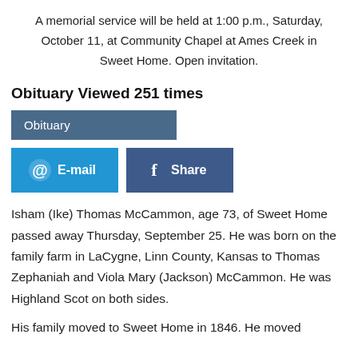A memorial service will be held at 1:00 p.m., Saturday, October 11, at Community Chapel at Ames Creek in Sweet Home. Open invitation.
Obituary Viewed 251 times
Obituary
@ E-mail   f Share
Isham (Ike) Thomas McCammon, age 73, of Sweet Home passed away Thursday, September 25. He was born on the family farm in LaCygne, Linn County, Kansas to Thomas Zephaniah and Viola Mary (Jackson) McCammon. He was Highland Scot on both sides.
His family moved to Sweet Home in 1846. He moved